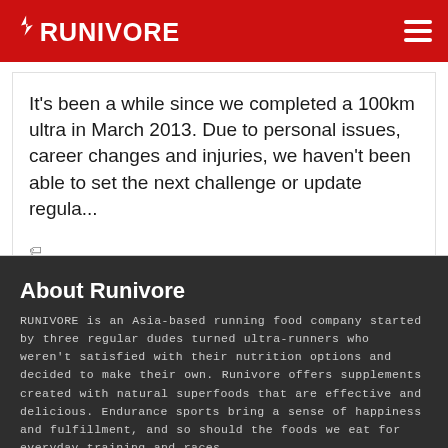RUNIVORE
It's been a while since we completed a 100km ultra in March 2013. Due to personal issues, career changes and injuries, we haven't been able to set the next challenge or update regula...
100 km, 3 dudes, runivore, Running, Taiwan, ultra, ultramarathon, Ultramission
About Runivore
RUNIVORE is an Asia-based running food company started by three regular dudes turned ultra-runners who weren't satisfied with their nutrition options and decided to make their own. Runivore offers supplements created with natural superfoods that are effective and delicious. Endurance sports bring a sense of happiness and fulfillment, and so should the foods we eat for everyday training and races.